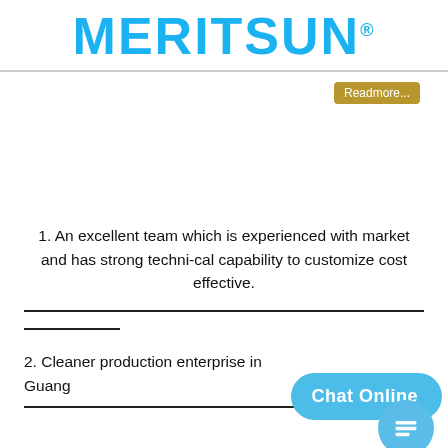MERITSUN®
Readmore...
1. An excellent team which is experienced with market and has strong techni-cal capability to customize cost effective.
2. Cleaner production enterprise in Guang...
[Figure (other): Chat Online button overlay with chat icon circle]